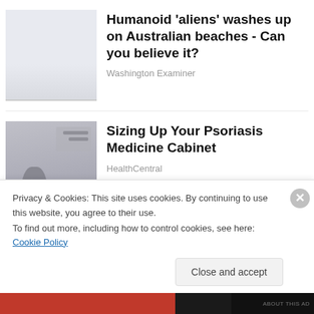Humanoid 'aliens' washes up on Australian beaches - Can you believe it?
Washington Examiner
Sizing Up Your Psoriasis Medicine Cabinet
HealthCentral
Privacy & Cookies: This site uses cookies. By continuing to use this website, you agree to their use.
To find out more, including how to control cookies, see here: Cookie Policy